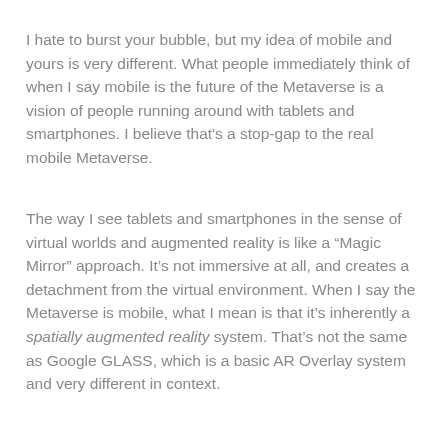I hate to burst your bubble, but my idea of mobile and yours is very different. What people immediately think of when I say mobile is the future of the Metaverse is a vision of people running around with tablets and smartphones. I believe that's a stop-gap to the real mobile Metaverse.
The way I see tablets and smartphones in the sense of virtual worlds and augmented reality is like a “Magic Mirror” approach. It’s not immersive at all, and creates a detachment from the virtual environment. When I say the Metaverse is mobile, what I mean is that it’s inherently a spatially augmented reality system. That’s not the same as Google GLASS, which is a basic AR Overlay system and very different in context.